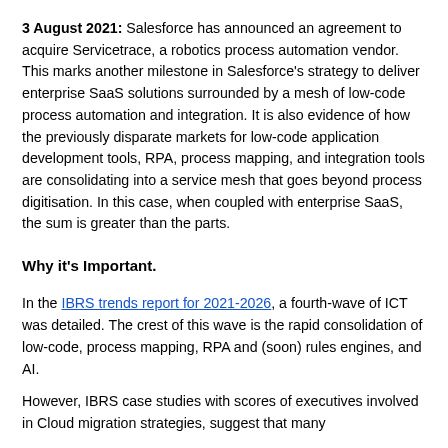3 August 2021: Salesforce has announced an agreement to acquire Servicetrace, a robotics process automation vendor. This marks another milestone in Salesforce's strategy to deliver enterprise SaaS solutions surrounded by a mesh of low-code process automation and integration. It is also evidence of how the previously disparate markets for low-code application development tools, RPA, process mapping, and integration tools are consolidating into a service mesh that goes beyond process digitisation. In this case, when coupled with enterprise SaaS, the sum is greater than the parts.
Why it's Important.
In the IBRS trends report for 2021-2026, a fourth-wave of ICT was detailed. The crest of this wave is the rapid consolidation of low-code, process mapping, RPA and (soon) rules engines, and AI.
However, IBRS case studies with scores of executives involved in Cloud migration strategies, suggest that many